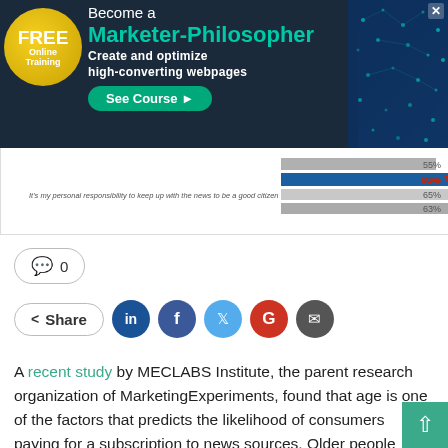[Figure (infographic): Advertisement banner: FREE Online Training — Become a Marketer-Philosopher. Create and optimize high-converting webpages. See Course button. Dark blue background with teal/cyan network graphic on the right, gold seal on the left.]
[Figure (bar-chart): Partial horizontal bar chart showing percentages (55%, 73%, 60%, 65%, 63%) related to personal responsibility to keep up with news to be a good citizen.]
0
Share
A recent study by MECLABS Institute, the parent research organization of MarketingExperiments, found that age is one of the factors that predicts the likelihood of consumers paying for a subscription to news sources. Older people were more likely to pay for subscriptions. The researchers tried to understand whether Millennials' and older generations' attitudes toward the news are different. How